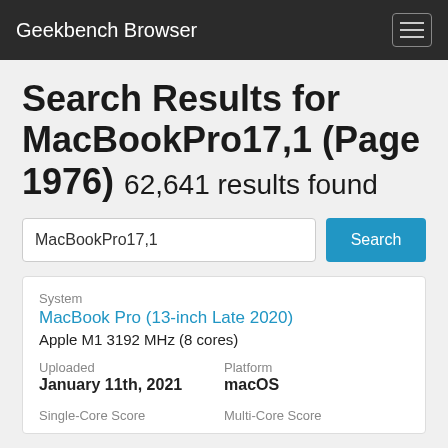Geekbench Browser
Search Results for MacBookPro17,1 (Page 1976) 62,641 results found
MacBookPro17,1
Search
System
MacBook Pro (13-inch Late 2020)
Apple M1 3192 MHz (8 cores)
Uploaded
January 11th, 2021
Platform
macOS
Single-Core Score
Multi-Core Score